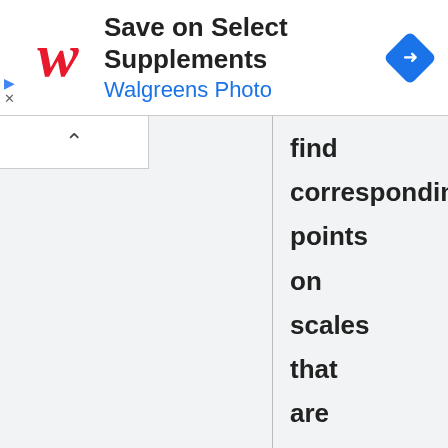[Figure (screenshot): Walgreens advertisement banner with red Walgreens script logo, text 'Save on Select Supplements' and 'Walgreens Photo' in blue, and a blue diamond navigation icon on the right.]
find corresponding points on scales that are not adjacent to each other.